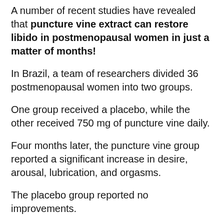A number of recent studies have revealed that puncture vine extract can restore libido in postmenopausal women in just a matter of months!
In Brazil, a team of researchers divided 36 postmenopausal women into two groups.
One group received a placebo, while the other received 750 mg of puncture vine daily.
Four months later, the puncture vine group reported a significant increase in desire, arousal, lubrication, and orgasms.
The placebo group reported no improvements.
A second Brazilian study involved 120 women with